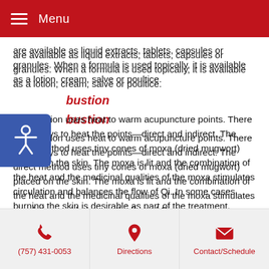Menu
are available as liquid extracts, tablets, capsules or granules. When a formula is used topically, it is available as a lotion, cream, salve or poultice.
Moxibustion
Moxibustion uses heat to warm acupuncture points. There are 2 ways to heat the points—direct and indirect. The direct method uses tiny cones of moxa (dried mugwort) placed on the skin. The moxa is lit and the combination of the heat and the medicinal qualities of the moxa stimulates circulation and balances the flow of Qi. In some cases, burning the skin is desirable as part of the treatment. Sometimes burns are an unintended outcome.
The indirect method is more popular because the practitioner can control the heat. The practitioner lights a cigar-like stick of moxa and holds it near the skin until the skin is warm.
(757) 431-0053 | Directions | Contact/Schedule